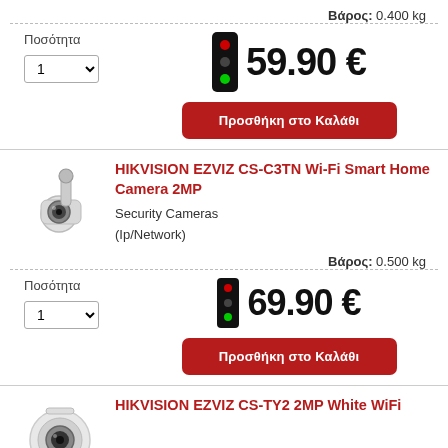Βάρος: 0.400 kg
Ποσότητα
1
59.90 €
Προσθήκη στο Καλάθι
[Figure (photo): HIKVISION EZVIZ CS-C3TN Wi-Fi Smart Home Camera 2MP product image, white tube security camera]
HIKVISION EZVIZ CS-C3TN Wi-Fi Smart Home Camera 2MP
Security Cameras
(Ip/Network)
Βάρος: 0.500 kg
Ποσότητα
1
69.90 €
Προσθήκη στο Καλάθι
[Figure (photo): HIKVISION EZVIZ CS-TY2 2MP White WiFi product image, round white security camera]
HIKVISION EZVIZ CS-TY2 2MP White WiFi